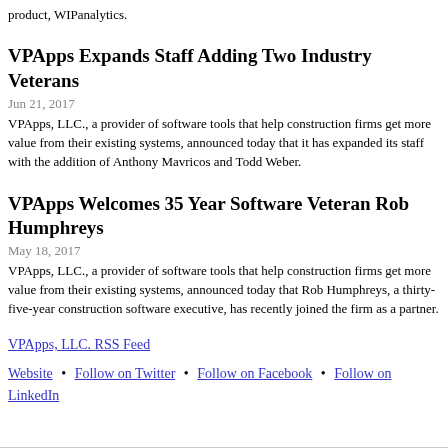product, WIPanalytics.
VPApps Expands Staff Adding Two Industry Veterans
Jun 21, 2017
VPApps, LLC., a provider of software tools that help construction firms get more value from their existing systems, announced today that it has expanded its staff with the addition of Anthony Mavricos and Todd Weber.
VPApps Welcomes 35 Year Software Veteran Rob Humphreys
May 18, 2017
VPApps, LLC., a provider of software tools that help construction firms get more value from their existing systems, announced today that Rob Humphreys, a thirty-five-year construction software executive, has recently joined the firm as a partner.
VPApps, LLC. RSS Feed
Website • Follow on Twitter • Follow on Facebook • Follow on LinkedIn